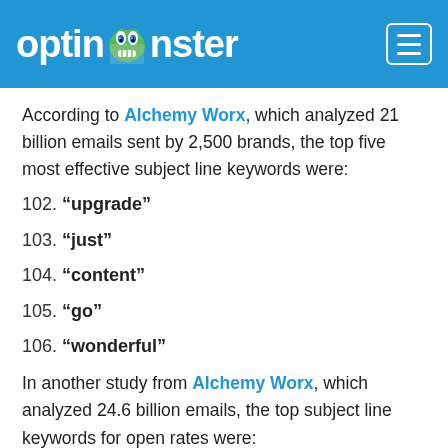optinmonster
According to Alchemy Worx, which analyzed 21 billion emails sent by 2,500 brands, the top five most effective subject line keywords were:
102. “upgrade”
103. “just”
104. “content”
105. “go”
106. “wonderful”
In another study from Alchemy Worx, which analyzed 24.6 billion emails, the top subject line keywords for open rates were: